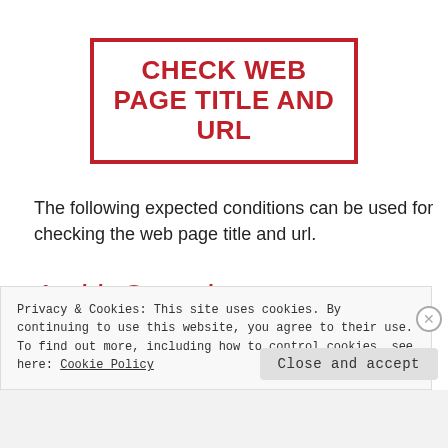CHECK WEB PAGE TITLE AND URL
The following expected conditions can be used for checking the web page title and url.
1. titleContains
It defines an expectation for checking that the title
Privacy & Cookies: This site uses cookies. By continuing to use this website, you agree to their use.
To find out more, including how to control cookies, see here: Cookie Policy
Close and accept